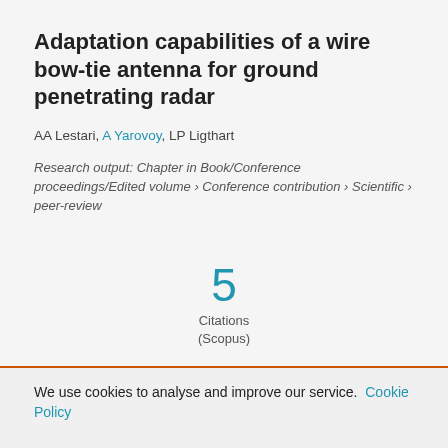Adaptation capabilities of a wire bow-tie antenna for ground penetrating radar
AA Lestari, A Yarovoy, LP Ligthart
Research output: Chapter in Book/Conference proceedings/Edited volume › Conference contribution › Scientific › peer-review
5
Citations
(Scopus)
We use cookies to analyse and improve our service. Cookie Policy